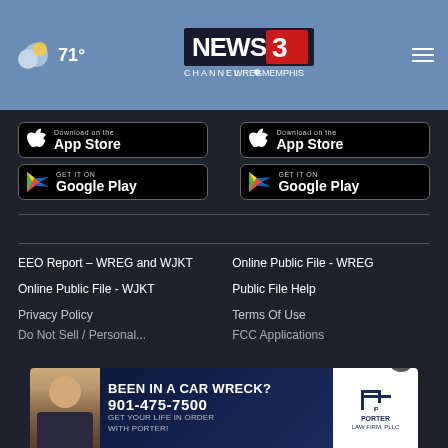71° NEWS CHANNEL 3 WREG MEMPHIS
[Figure (screenshot): App Store download button (left group)]
[Figure (screenshot): Google Play download button (left group)]
[Figure (screenshot): App Store download button (right group)]
[Figure (screenshot): Google Play download button (right group)]
EEO Report – WREG and WJKT
Online Public File - WREG
Online Public File - WJKT
Public File Help
Privacy Policy
Terms Of Use
Do Not Sell / Personal...
FCC Applications
[Figure (screenshot): Ad banner: BEEN IN A CAR WRECK? 901-475-7500 GET YOUR LIFE IN ORDER WITH PORTER! Porter Law Firm, PLLC]